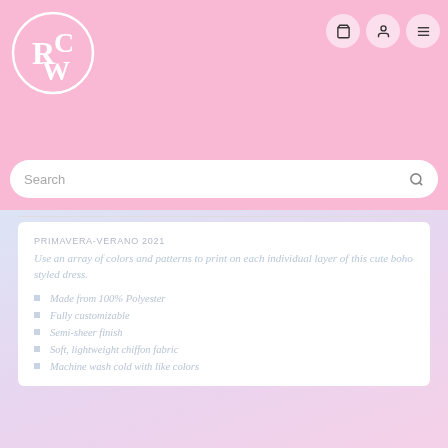[Figure (logo): Circular brand logo with letters R, W, C intertwined in white on pink background]
[Figure (other): Navigation icons: shopping cart, user account, and hamburger menu in circular white buttons]
Search
PRIMAVERA-VERANO 2021
Use an array of colors and patterns to print on each individual layer of this cute boho styled dress.
Made from 100% Polyester
Fully customizable
Semi-sheer finish
Soft, lightweight chiffon fabric
Machine wash cold with like colors